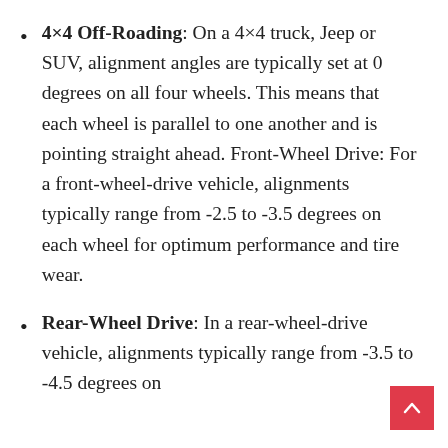4×4 Off-Roading: On a 4×4 truck, Jeep or SUV, alignment angles are typically set at 0 degrees on all four wheels. This means that each wheel is parallel to one another and is pointing straight ahead. Front-Wheel Drive: For a front-wheel-drive vehicle, alignments typically range from -2.5 to -3.5 degrees on each wheel for optimum performance and tire wear.
Rear-Wheel Drive: In a rear-wheel-drive vehicle, alignments typically range from -3.5 to -4.5 degrees on